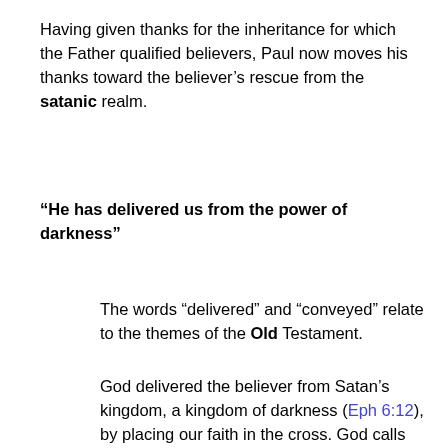Having given thanks for the inheritance for which the Father qualified believers, Paul now moves his thanks toward the believer's rescue from the satanic realm.
“He has delivered us from the power of darkness”
The words “delivered” and “conveyed” relate to the themes of the Old Testament.
God delivered the believer from Satan’s kingdom, a kingdom of darkness (Eph 6:12), by placing our faith in the cross. God calls Satan’s kingdom utter darkness (Mt. 25:30). He called us out of darkness (1 Pet. 2:9). “Darkness” is more than the absence of light; it is the opposite of light. Darkness is not